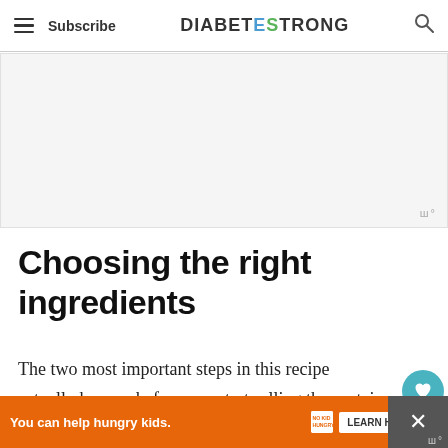Subscribe | DIABETESTRONG
[Figure (screenshot): Gray advertisement placeholder area]
Choosing the right ingredients
The two most important steps in this recipe actually happen before you start rolling the protein balls.
First, make sure you buy the right peanut butter. You
[Figure (infographic): Bottom orange advertisement banner: 'You can help hungry kids. NO KID HUNGRY LEARN HOW' with close button]